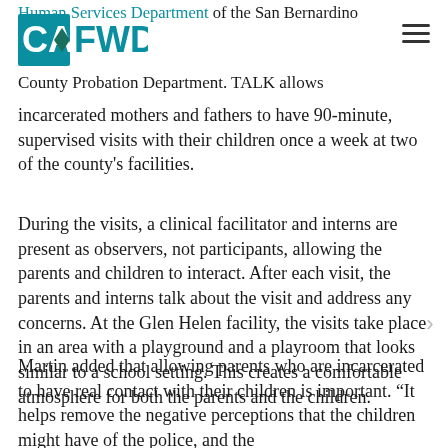CAFWD | Human Services Department of the San Bernardino County Probation Department. TALK allows
incarcerated mothers and fathers to have 90-minute, supervised visits with their children once a week at two of the county's facilities.
During the visits, a clinical facilitator and interns are present as observers, not participants, allowing the parents and children to interact. After each visit, the parents and interns talk about the visit and address any concerns. At the Glen Helen facility, the visits take place in an area with a playground and a playroom that looks similar to a school setting. This creates a comfortable atmosphere for both the parents and the children.
Martin added that allowing parents who are incarcerated to have real contact with their children is important. “It helps remove the negative perceptions that the children might have of the police, and the